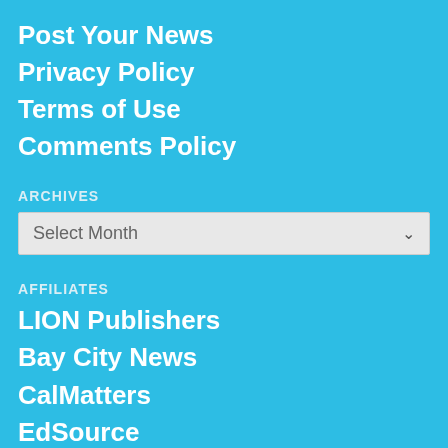Post Your News
Privacy Policy
Terms of Use
Comments Policy
ARCHIVES
Select Month
AFFILIATES
LION Publishers
Bay City News
CalMatters
EdSource